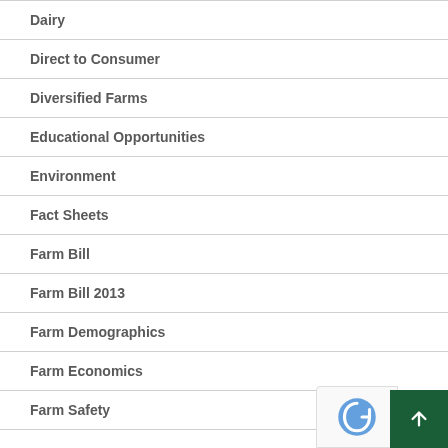Dairy
Direct to Consumer
Diversified Farms
Educational Opportunities
Environment
Fact Sheets
Farm Bill
Farm Bill 2013
Farm Demographics
Farm Economics
Farm Safety